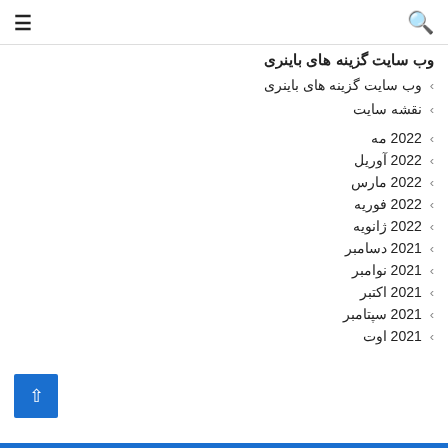☰  🔍
وب سایت گزینه های باینری
‹ وب سایت گزینه های باینری
‹ نقشه سایت
‹ 2022 مه
‹ 2022 آوریل
‹ 2022 مارس
‹ 2022 فوریه
‹ 2022 ژانویه
‹ 2021 دسامبر
‹ 2021 نوامبر
‹ 2021 اکتبر
‹ 2021 سپتامبر
‹ 2021 اوت